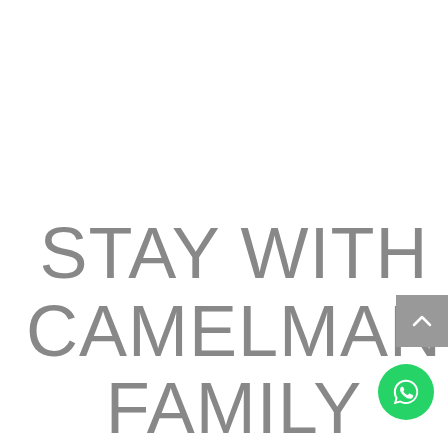STAY WITH CAMELMAN FAMILY
[Figure (other): Grey scroll-to-top button with upward chevron arrow, positioned at right edge of page]
[Figure (other): Green circular WhatsApp button with WhatsApp logo icon, positioned at bottom right]